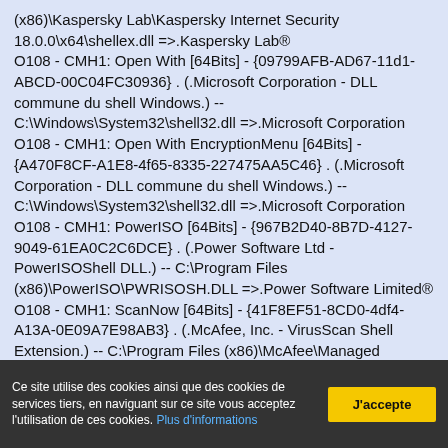(x86)\Kaspersky Lab\Kaspersky Internet Security 18.0.0\x64\shellex.dll =>.Kaspersky Lab® O108 - CMH1: Open With [64Bits] - {09799AFB-AD67-11d1-ABCD-00C04FC30936} . (.Microsoft Corporation - DLL commune du shell Windows.) -- C:\Windows\System32\shell32.dll =>.Microsoft Corporation O108 - CMH1: Open With EncryptionMenu [64Bits] - {A470F8CF-A1E8-4f65-8335-227475AA5C46} . (.Microsoft Corporation - DLL commune du shell Windows.) -- C:\Windows\System32\shell32.dll =>.Microsoft Corporation O108 - CMH1: PowerISO [64Bits] - {967B2D40-8B7D-4127-9049-61EA0C2C6DCE} . (.Power Software Ltd - PowerISOShell DLL.) -- C:\Program Files (x86)\PowerISO\PWRISOSH.DLL =>.Power Software Limited® O108 - CMH1: ScanNow [64Bits] - {41F8EF51-8CD0-4df4-A13A-0E09A7E98AB3} . (.McAfee, Inc. - VirusScan Shell Extension.) -- C:\Program Files (x86)\McAfee\Managed VirusScan\VScan64\mvsshext5.1.0.325.dll =>.McAfee, Inc.® O108 - CMH1: Sharing [64Bits] - {f81e9010-6ea4-11ce-a7ff-
Ce site utilise des cookies ainsi que des cookies de services tiers, en naviguant sur ce site vous acceptez l'utilisation de ces cookies. Plus d'informations
J'accepte